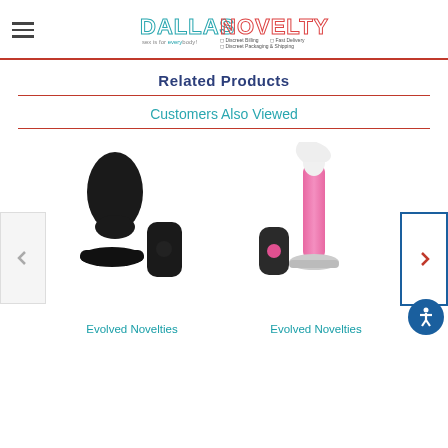Dallas Novelty - sex is for everybody! - Discreet Billing, Fast Delivery, Discreet Packaging & Shipping
Related Products
Customers Also Viewed
[Figure (photo): Product photo: black vibrating anal plug with remote control (Evolved Novelties)]
Evolved Novelties
[Figure (photo): Product photo: pink glass/acrylic prostate massager with remote control (Evolved Novelties)]
Evolved Novelties